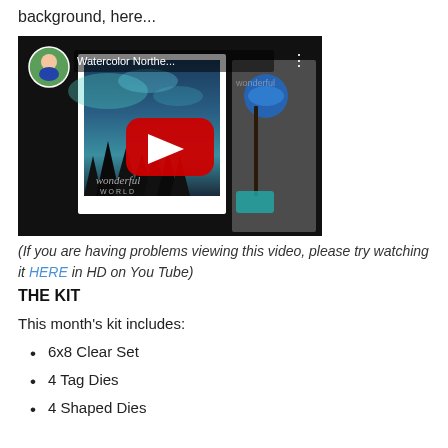background, here...
[Figure (screenshot): YouTube video thumbnail showing a watercolor Northern Lights card with a dark forest silhouette and the text 'wonderful WORLD'. Title shown: 'Watercolor Northe...' with a channel avatar of a woman sitting cross-legged outdoors, and a red YouTube play button in the center.]
(If you are having problems viewing this video, please try watching it HERE in HD on You Tube)
THE KIT
This month's kit includes:
6x8 Clear Set
4 Tag Dies
4 Shaped Dies